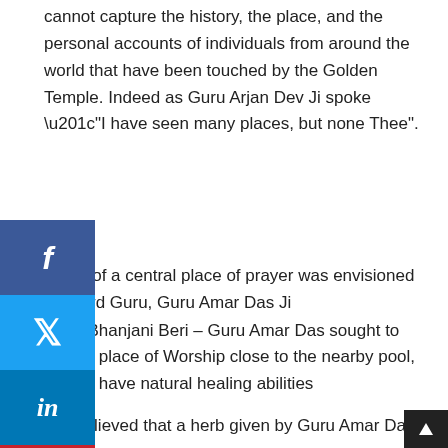cannot capture the history, the place, and the personal accounts of individuals from around the world that have been touched by the Golden Temple. Indeed as Guru Arjan Dev Ji spoke "“I have seen many places, but none Thee”.
Timeline:
vision of a central place of prayer was envisioned by Third Guru, Guru Amar Das Ji
Bukh Bhanjani Beri – Guru Amar Das sought to build a place of Worship close to the nearby pool, said to have natural healing abilities
It is believed that a herb given by Guru Amar Das Ji, and Guru Amar Das Ji (Second Sikh Guru), for the